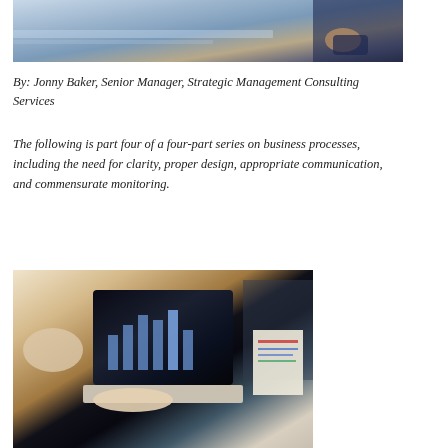[Figure (photo): Business professionals at a meeting, top portion visible showing glass table and suits]
By: Jonny Baker, Senior Manager, Strategic Management Consulting Services
The following is part four of a four-part series on business processes, including the need for clarity, proper design, appropriate communication, and commensurate monitoring.
[Figure (photo): Person working on laptop with analytics/charts on screen, others in background with documents]